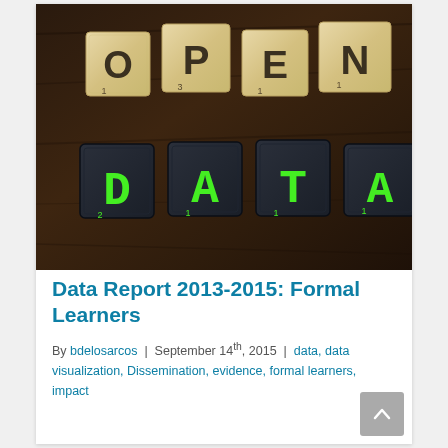[Figure (photo): Scrabble tiles spelling OPEN (wooden tiles, dark letters) on top row and DATA (dark tiles with green LED-style letters) on bottom row, arranged on a dark wooden surface.]
Data Report 2013-2015: Formal Learners
By bdelosarcos | September 14th, 2015 | data, data visualization, Dissemination, evidence, formal learners, impact